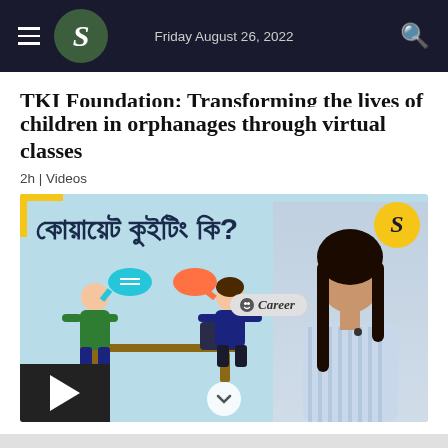Friday August 26, 2022
TKI Foundation: Transforming the lives of children in orphanages through virtual classes
2h | Videos
[Figure (screenshot): Video thumbnail showing Bengali text 'কোয়ায়েট কুইটিং কি?' with Career label, an illustration of two people talking, and a woman presenter on the right side. A play button is visible at the bottom left.]